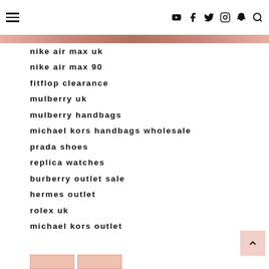Navigation header with hamburger menu and social icons
nike air max uk
nike air max 90
fitflop clearance
mulberry uk
mulberry handbags
michael kors handbags wholesale
prada shoes
replica watches
burberry outlet sale
hermes outlet
rolex uk
michael kors outlet
ferragamo outlet
chanyuan0714